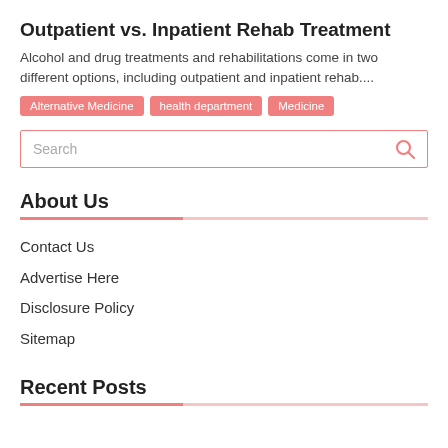Outpatient vs. Inpatient Rehab Treatment
Alcohol and drug treatments and rehabilitations come in two different options, including outpatient and inpatient rehab....
Alternative Medicine
health department
Medicine
Search
About Us
Contact Us
Advertise Here
Disclosure Policy
Sitemap
Recent Posts